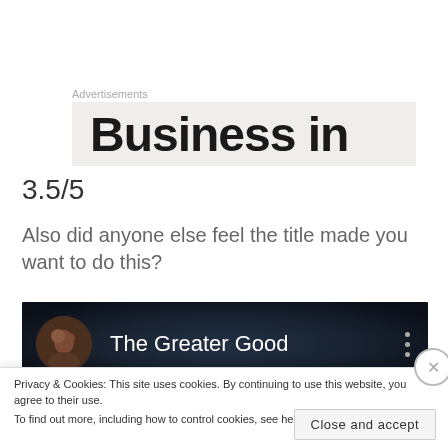Advertisements
[Figure (screenshot): Partial advertisement banner showing 'Business in' in large bold text on a light grey background]
3.5/5
Also did anyone else feel the title made you want to do this?
[Figure (screenshot): Dark YouTube video thumbnail showing 'The Greater Good' with a profile avatar on the left and three vertical dots menu icon on the right]
Privacy & Cookies: This site uses cookies. By continuing to use this website, you agree to their use.
To find out more, including how to control cookies, see here: Cookie Policy
Close and accept